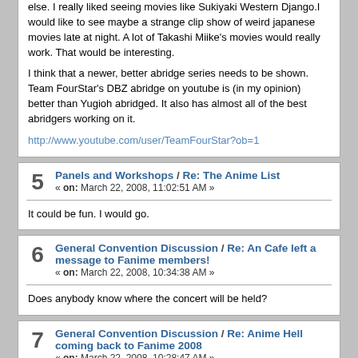else. I really liked seeing movies like Sukiyaki Western Django.I would like to see maybe a strange clip show of weird japanese movies late at night. A lot of Takashi Miike's movies would really work. That would be interesting.

I think that a newer, better abridge series needs to be shown. Team FourStar's DBZ abridge on youtube is (in my opinion) better than Yugioh abridged. It also has almost all of the best abridgers working on it.

http://www.youtube.com/user/TeamFourStar?ob=1
5   Panels and Workshops / Re: The Anime List
« on: March 22, 2008, 11:02:51 AM »
It could be fun. I would go.
6   General Convention Discussion / Re: An Cafe left a message to Fanime members!
« on: March 22, 2008, 10:34:38 AM »
Does anybody know where the concert will be held?
7   General Convention Discussion / Re: Anime Hell coming back to Fanime 2008
« on: March 22, 2008, 10:28:47 AM »
My friends and I loved anime hell last year. It was definitly one of